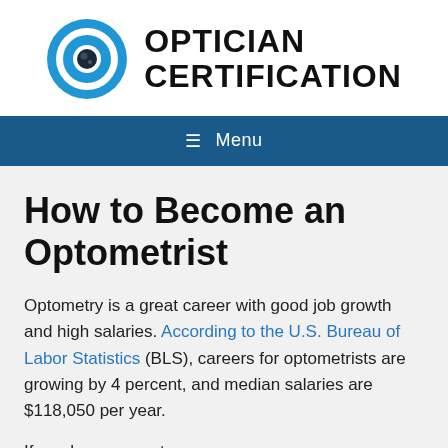[Figure (logo): Optician Certification logo: blue eye/lens icon circle on the left, bold text 'OPTICIAN CERTIFICATION' on the right in black uppercase letters]
≡  Menu
How to Become an Optometrist
Optometry is a great career with good job growth and high salaries. According to the U.S. Bureau of Labor Statistics (BLS), careers for optometrists are growing by 4 percent, and median salaries are $118,050 per year.
If you have a great...